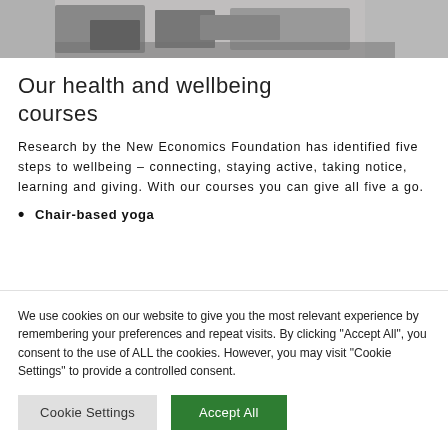[Figure (photo): Partial view of a workspace/office scene, cropped at top of page]
Our health and wellbeing courses
Research by the New Economics Foundation has identified five steps to wellbeing – connecting, staying active, taking notice, learning and giving. With our courses you can give all five a go.
Chair-based yoga
We use cookies on our website to give you the most relevant experience by remembering your preferences and repeat visits. By clicking "Accept All", you consent to the use of ALL the cookies. However, you may visit "Cookie Settings" to provide a controlled consent.